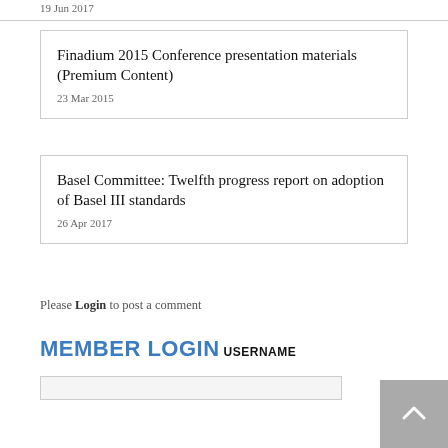19 Jun 2017
Finadium 2015 Conference presentation materials (Premium Content)
23 Mar 2015
Basel Committee: Twelfth progress report on adoption of Basel III standards
26 Apr 2017
Please Login to post a comment
MEMBER LOGIN
USERNAME